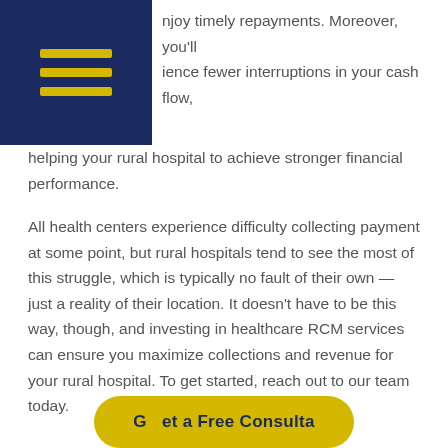[Figure (other): Dark navy blue rectangle in top-left corner with three horizontal yellow/gold lines (hamburger menu icon)]
enjoy timely repayments. Moreover, you'll experience fewer interruptions in your cash flow, helping your rural hospital to achieve stronger financial performance.
All health centers experience difficulty collecting payment at some point, but rural hospitals tend to see the most of this struggle, which is typically no fault of their own — just a reality of their location. It doesn't have to be this way, though, and investing in healthcare RCM services can ensure you maximize collections and revenue for your rural hospital. To get started, reach out to our team today.
[Figure (other): Yellow/gold rounded rectangle CTA button with dark blue text partially visible at bottom of page]